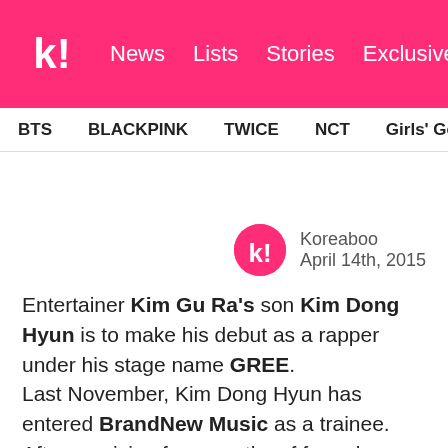k! News Lists Stories Exclusives
BTS BLACKPINK TWICE NCT Girls' Generation aespa
Koreaboo
April 14th, 2015
Entertainer Kim Gu Ra's son Kim Dong Hyun is to make his debut as a rapper under his stage name GREE.
Last November, Kim Dong Hyun has entered BrandNew Music as a trainee. After receiving four months of formal training, he changed his name from MC GREE to GREE and finalized his